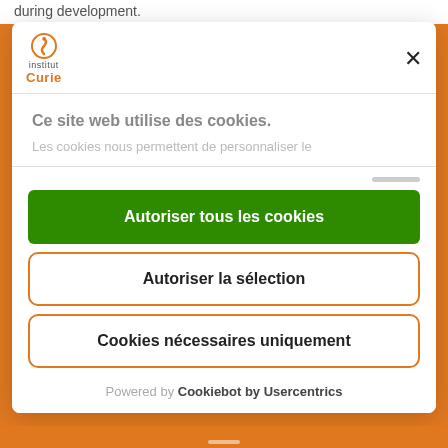during development.
[Figure (logo): Institut Curie logo with orange circular icon and text 'institut Curie']
Ce site web utilise des cookies.
Les cookies nous permettent de personnaliser le
Autoriser tous les cookies
Autoriser la sélection
Cookies nécessaires uniquement
Powered by Cookiebot by Usercentrics